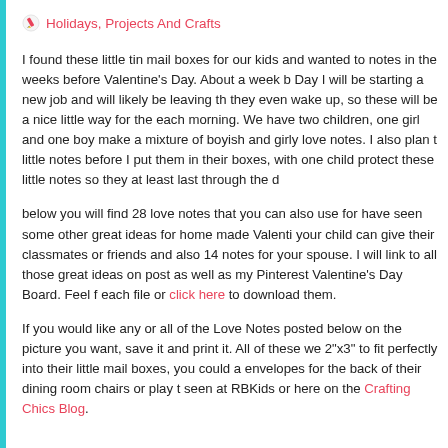Holidays, Projects And Crafts
I found these little tin mail boxes for our kids and wanted to notes in the weeks before Valentine's Day. About a week b Day I will be starting a new job and will likely be leaving th they even wake up, so these will be a nice little way for the each morning. We have two children, one girl and one boy make a mixture of boyish and girly love notes. I also plan t little notes before I put them in their boxes, with one child protect these little notes so they at least last through the d
below you will find 28 love notes that you can also use for have seen some other great ideas for home made Valenti your child can give their classmates or friends and also 14 notes for your spouse. I will link to all those great ideas on post as well as my Pinterest Valentine's Day Board. Feel f each file or click here to download them.
If you would like any or all of the Love Notes posted below on the picture you want, save it and print it. All of these we 2"x3" to fit perfectly into their little mail boxes, you could a envelopes for the back of their dining room chairs or play t seen at RBKids or here on the Crafting Chics Blog.